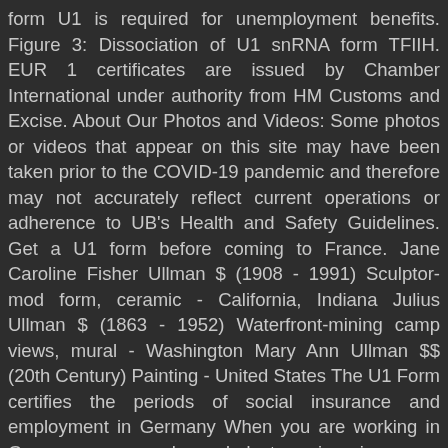form U1 is required for unemployment benefits. Figure 3: Dissociation of U1 snRNA form TFIIH. EUR 1 certificates are issued by Chamber International under authority from HM Customs and Excise. About Our Photos and Videos: Some photos or videos that appear on this site may have been taken prior to the COVID-19 pandemic and therefore may not accurately reflect current operations or adherence to UB's Health and Safety Guidelines. Get a U1 form before coming to France. Jane Caroline Fisher Ullman $ (1908 - 1991) Sculptor-mod form, ceramic - California, Indiana Julius Ullman $ (1863 - 1952) Waterfront-mining camp views, mural - Washington Mary Ann Ullman $$ (20th Century) Painting - United States The U1 Form certifies the periods of social insurance and employment in Germany When you are working in Germany your employer deducts various insurance contributions (health, unemployment, pension etc) and transfers them to the relevant German Fund. Half of the Dutch Z58 belonged to the Z140 clade, which so far hasn't been found in Belgium. The form lists the